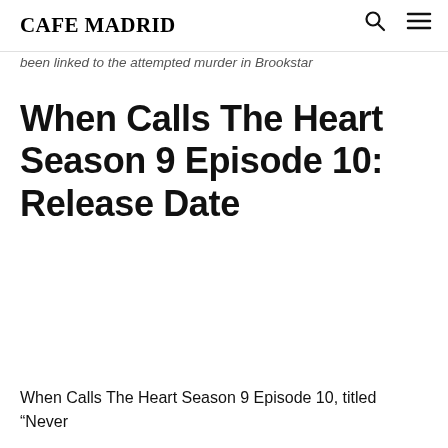CAFE MADRID
been linked to the attempted murder in Brookstar
When Calls The Heart Season 9 Episode 10: Release Date
When Calls The Heart Season 9 Episode 10, titled “Never